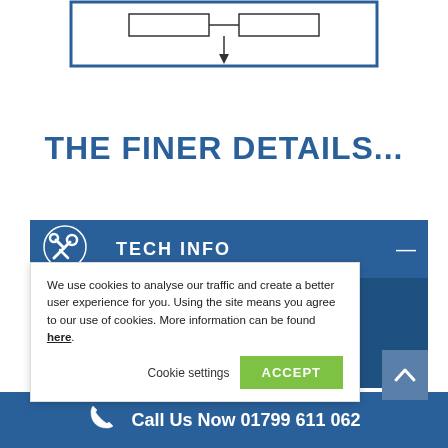[Figure (schematic): Partial diagram at the top of the page showing a box/block diagram with lines and connectors]
THE FINER DETAILS...
TECH INFO
We use cookies to analyse our traffic and create a better user experience for you. Using the site means you agree to our use of cookies. More information can be found here.
Cookie settings  ACCEPT
Call Us Now 01799 611 062